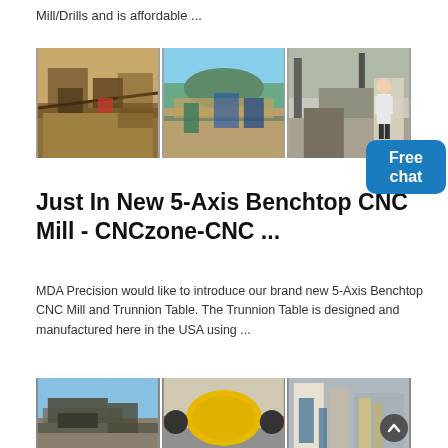Mill/Drills and is affordable ...
[Figure (photo): Three-panel industrial machinery photo strip: mining/crushing equipment, conveyor system near water, construction/industrial site with person in white coat]
Just In New 5-Axis Benchtop CNC Mill - CNCzone-CNC ...
MDA Precision would like to introduce our brand new 5-Axis Benchtop CNC Mill and Trunnion Table. The Trunnion Table is designed and manufactured here in the USA using ...
[Figure (photo): Three-panel industrial machinery photo strip: outdoor crushing/screening equipment, large yellow ball mill drum, industrial processing facility interior]